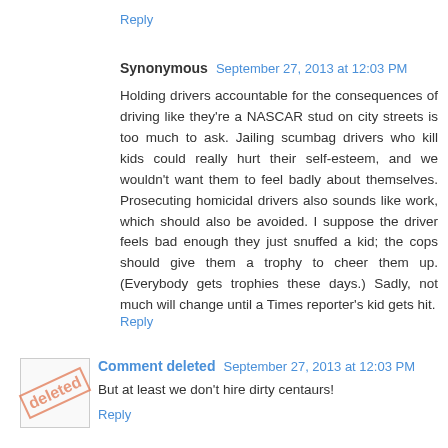Reply
Synonymous  September 27, 2013 at 12:03 PM
Holding drivers accountable for the consequences of driving like they're a NASCAR stud on city streets is too much to ask. Jailing scumbag drivers who kill kids could really hurt their self-esteem, and we wouldn't want them to feel badly about themselves. Prosecuting homicidal drivers also sounds like work, which should also be avoided. I suppose the driver feels bad enough they just snuffed a kid; the cops should give them a trophy to cheer them up. (Everybody gets trophies these days.) Sadly, not much will change until a Times reporter's kid gets hit.
Reply
Comment deleted  September 27, 2013 at 12:03 PM
But at least we don't hire dirty centaurs!
Reply